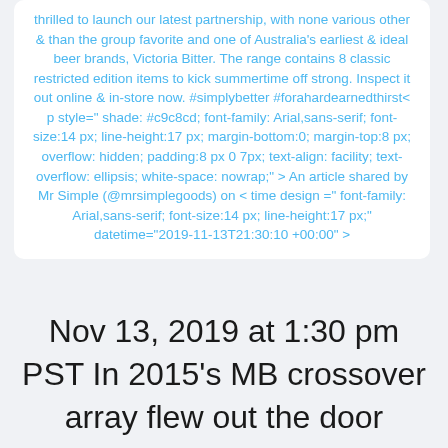thrilled to launch our latest partnership, with none various other & than the group favorite and one of Australia's earliest & ideal beer brands, Victoria Bitter. The range contains 8 classic restricted edition items to kick summertime off strong. Inspect it out online & in-store now. #simplybetter #forahardearnedthirst< p style="shade: #c9c8cd; font-family: Arial,sans-serif; font-size:14 px; line-height:17 px; margin-bottom:0; margin-top:8 px; overflow: hidden; padding:8 px 0 7px; text-align: facility; text-overflow: ellipsis; white-space: nowrap;" > An article shared by Mr Simple (@mrsimplegoods) on < time design =" font-family: Arial,sans-serif; font-size:14 px; line-height:17 px;" datetime="2019-11-13T21:30:10 +00:00" >
Nov 13, 2019 at 1:30 pm PST In 2015's MB crossover array flew out the door quicker than an icy slab of neck oils on a 40-degree day,